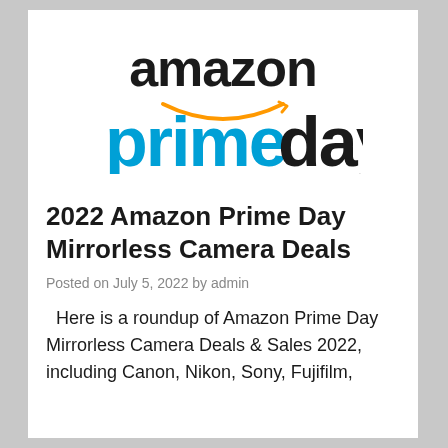[Figure (logo): Amazon Prime Day logo with 'amazon' text above a smile arrow and 'primeday' text below in blue and black]
2022 Amazon Prime Day Mirrorless Camera Deals
Posted on July 5, 2022 by admin
Here is a roundup of Amazon Prime Day Mirrorless Camera Deals & Sales 2022, including Canon, Nikon, Sony, Fujifilm,